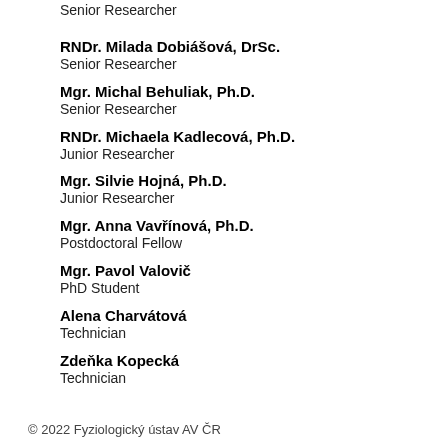MUDr. Alena Almášová, Ph.D.
Senior Researcher
RNDr. Milada Dobiášová, DrSc.
Senior Researcher
Mgr. Michal Behuliak, Ph.D.
Senior Researcher
RNDr. Michaela Kadlecová, Ph.D.
Junior Researcher
Mgr. Silvie Hojná, Ph.D.
Junior Researcher
Mgr. Anna Vavřínová, Ph.D.
Postdoctoral Fellow
Mgr. Pavol Valovič
PhD Student
Alena Charvátová
Technician
Zdeňka Kopecká
Technician
© 2022 Fyziologický ústav AV ČR